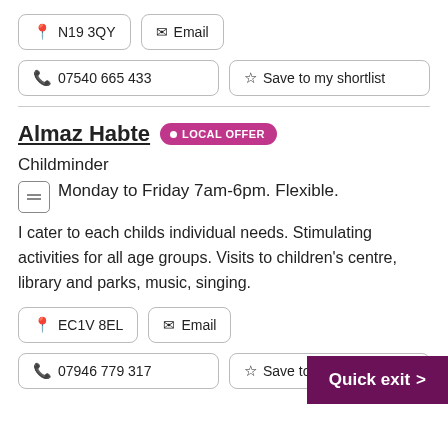N19 3QY
Email
07540 665 433
Save to my shortlist
Almaz Habte LOCAL OFFER
Childminder
Monday to Friday 7am-6pm. Flexible.
I cater to each childs individual needs. Stimulating activities for all age groups. Visits to children's centre, library and parks, music, singing.
EC1V 8EL
Email
Quick exit
07946 779 317
Save to my shortlist